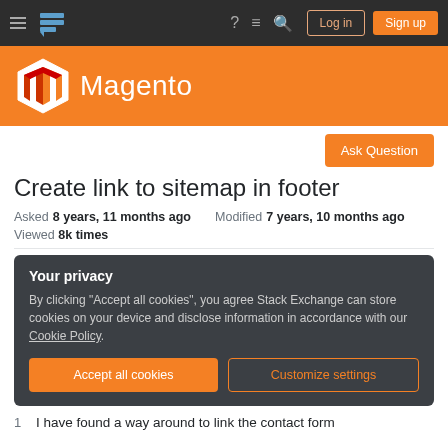Stack Exchange navigation bar with hamburger menu, logo, help, chat, search icons, Log in and Sign up buttons
[Figure (logo): Magento logo with orange brand bar - hexagon icon and white Magento text]
Ask Question
Create link to sitemap in footer
Asked 8 years, 11 months ago   Modified 7 years, 10 months ago   Viewed 8k times
Your privacy
By clicking "Accept all cookies", you agree Stack Exchange can store cookies on your device and disclose information in accordance with our Cookie Policy.
Accept all cookies   Customize settings
1   I have found a way around to link the contact form